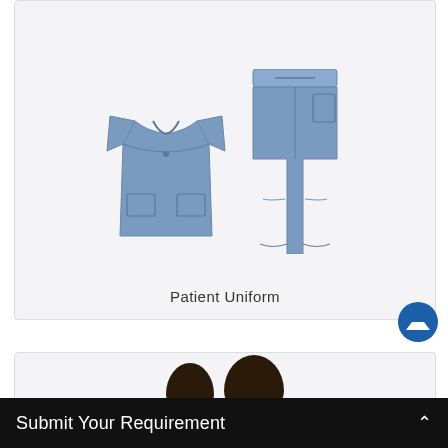[Figure (photo): Medical scrubs set showing a blue/periwinkle V-neck scrub top on the left and matching scrub pants with side pockets on the right, displayed against a light gray background.]
Patient Uniform
[Figure (photo): Partial view of two people's heads visible at the bottom of a card, cropped — appears to be two individuals in a product or team photo.]
Submit Your Requirement